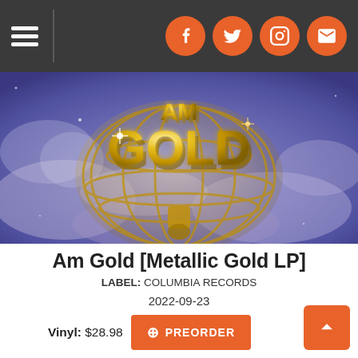Navigation bar with hamburger menu and social icons (Facebook, Twitter, Instagram, Email)
[Figure (photo): Album cover art for Am Gold showing a large gold 3D metallic text/logo 'AM GOLD' with a globe/grid structure, set against a blue-purple space/earth background with light reflections and sparkles]
Am Gold [Metallic Gold LP]
LABEL: COLUMBIA RECORDS
2022-09-23
Vinyl: $28.98
+ PREORDER